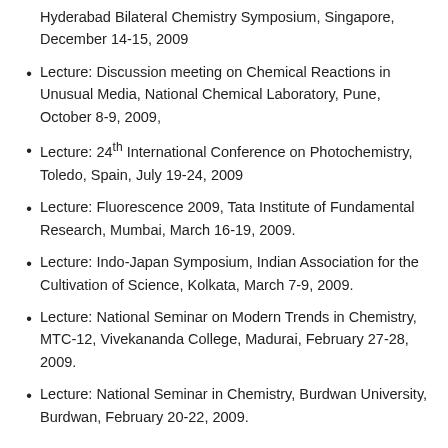Hyderabad Bilateral Chemistry Symposium, Singapore, December 14-15, 2009
Lecture: Discussion meeting on Chemical Reactions in Unusual Media, National Chemical Laboratory, Pune, October 8-9, 2009,
Lecture: 24th International Conference on Photochemistry, Toledo, Spain, July 19-24, 2009
Lecture: Fluorescence 2009, Tata Institute of Fundamental Research, Mumbai, March 16-19, 2009.
Lecture: Indo-Japan Symposium, Indian Association for the Cultivation of Science, Kolkata, March 7-9, 2009.
Lecture: National Seminar on Modern Trends in Chemistry, MTC-12, Vivekananda College, Madurai, February 27-28, 2009.
Lecture: National Seminar in Chemistry, Burdwan University, Burdwan, February 20-22, 2009.